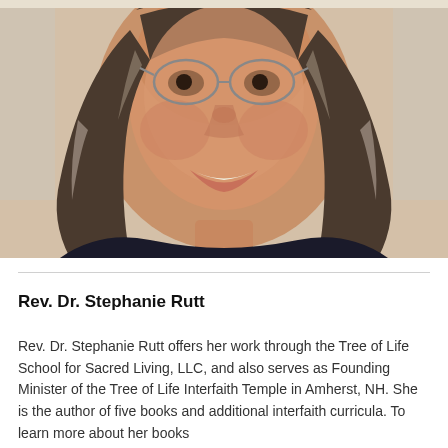[Figure (photo): Close-up portrait photo of Rev. Dr. Stephanie Rutt, a woman with long gray-brown hair wearing glasses, smiling broadly. She is wearing a dark top. The background is light/white.]
Rev. Dr. Stephanie Rutt
Rev. Dr. Stephanie Rutt offers her work through the Tree of Life School for Sacred Living, LLC, and also serves as Founding Minister of the Tree of Life Interfaith Temple in Amherst, NH. She is the author of five books and additional interfaith curricula. To learn more about her books